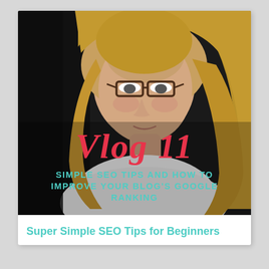[Figure (photo): Thumbnail card showing a young woman with glasses and long blonde hair smiling at the camera against a dark background. Overlaid text reads 'Vlog 11' in large red italic script, and below in teal uppercase bold text: 'SIMPLE SEO TIPS AND HOW TO IMPROVE YOUR BLOG'S GOOGLE RANKING']
Super Simple SEO Tips for Beginners